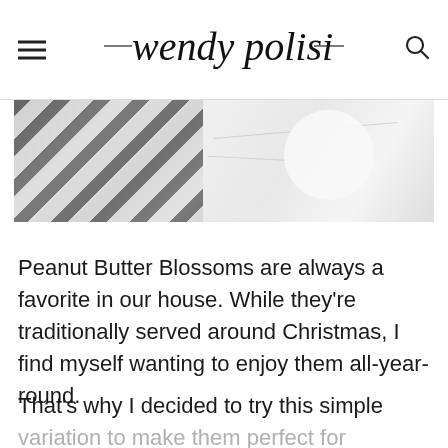wendy polisi
[Figure (photo): Close-up photo of striped fabric/textile with white round objects on marble surface]
Peanut Butter Blossoms are always a favorite in our house. While they're traditionally served around Christmas, I find myself wanting to enjoy them all-year-round.
That's why I decided to try this simple variation to make them perfect for